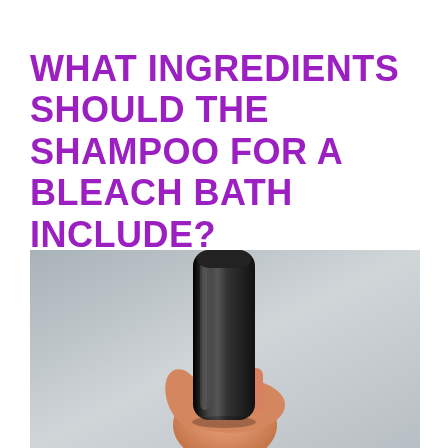WHAT INGREDIENTS SHOULD THE SHAMPOO FOR A BLEACH BATH INCLUDE?
[Figure (photo): A hand holding a sleek black cylindrical shampoo bottle against a light gray background.]